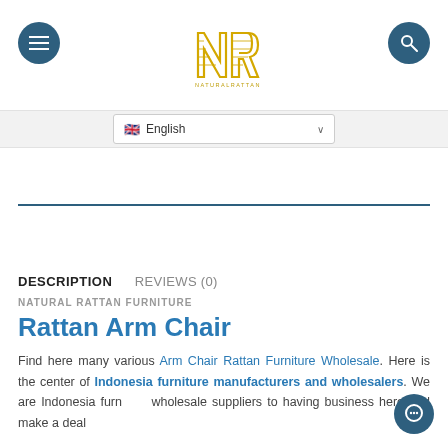[Figure (logo): NR Natural Rattan logo in gold/yellow with hamburger menu button (dark blue circle) on left and search button (dark blue circle) on right]
English (language selector dropdown)
DESCRIPTION
REVIEWS (0)
NATURAL RATTAN FURNITURE
Rattan Arm Chair
Find here many various Arm Chair Rattan Furniture Wholesale. Here is the center of Indonesia furniture manufacturers and wholesalers. We are Indonesia furniture wholesale suppliers to having business here and make a deal